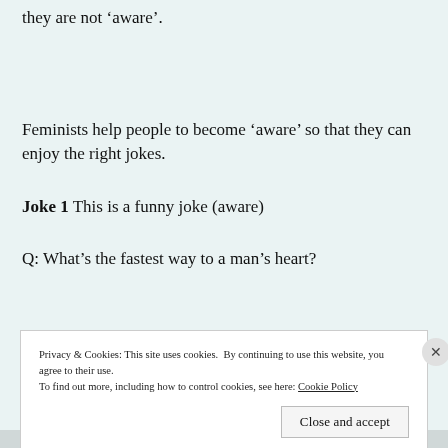they are not ‘aware’.
Feminists help people to become ‘aware’ so that they can enjoy the right jokes.
Joke 1 This is a funny joke (aware)
Q: What’s the fastest way to a man’s heart?
Privacy & Cookies: This site uses cookies. By continuing to use this website, you agree to their use.
To find out more, including how to control cookies, see here: Cookie Policy
WEBSITE TITLE AD